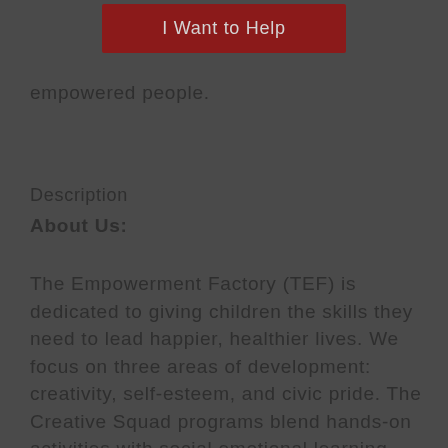[Figure (other): Red button labeled 'I Want to Help']
empowered people.
Description
About Us:
The Empowerment Factory (TEF) is dedicated to giving children the skills they need to lead happier, healthier lives. We focus on three areas of development: creativity, self-esteem, and civic pride. The Creative Squad programs blend hands-on activities with social emotional learning (SEL) and environmental education. Our vision is for every child to develop the confidence and ability to express themselves, while becoming actively